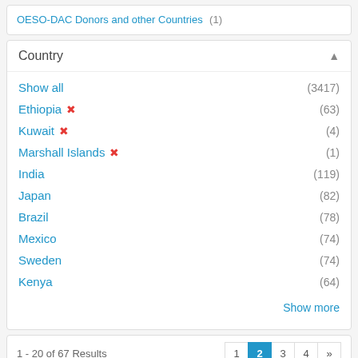OESO-DAC Donors and other Countries (1)
Country
Show all (3417)
Ethiopia ✗ (63)
Kuwait ✗ (4)
Marshall Islands ✗ (1)
India (119)
Japan (82)
Brazil (78)
Mexico (74)
Sweden (74)
Kenya (64)
Show more
1 - 20 of 67 Results  1 2 3 4 »